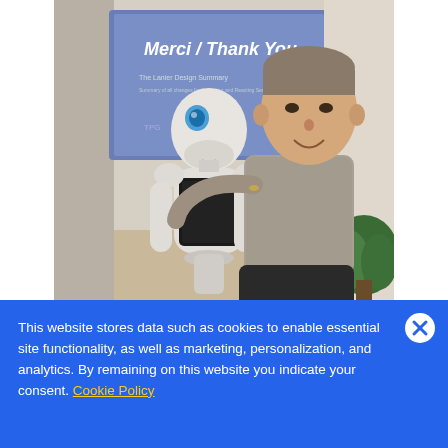[Figure (photo): A man posing with a Pepper humanoid robot (white robot with a tablet on its chest and blue eyes). Behind them is a screen showing 'Merci / Thank You' and a green plant to the right. The setting appears to be an office or conference room.]
Image: Jean-Louis (JL) Marechaux, JDA
This website stores data such as cookies to enable essential site functionality, as well as marketing, personalization, and analytics. By remaining on this website you indicate your consent. Cookie Policy